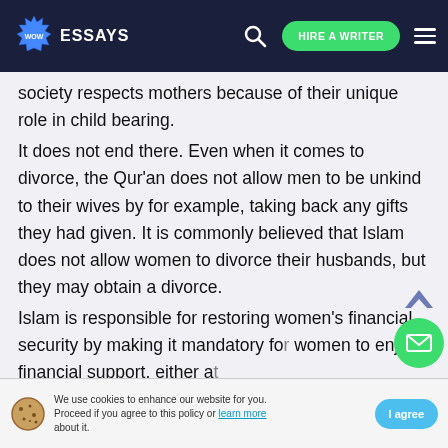WOW ESSAYS – HIRE A WRITER
society respects mothers because of their unique role in child bearing.
It does not end there. Even when it comes to divorce, the Qur'an does not allow men to be unkind to their wives by for example, taking back any gifts they had given. It is commonly believed that Islam does not allow women to divorce their husbands, but they may obtain a divorce.
Islam is responsible for restoring women's financial security by making it mandatory for women to enjoy financial support, either a
We use cookies to enhance our website for you. Proceed if you agree to this policy or learn more about it. I agree